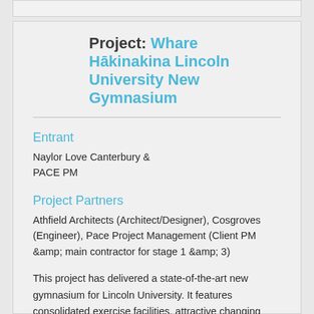Project: Whare Hākinakina Lincoln University New Gymnasium
Entrant
Naylor Love Canterbury &
PACE PM
Project Partners
Athfield Architects (Architect/Designer), Cosgroves (Engineer), Pace Project Management (Client PM &amp; main contractor for stage 1 &amp; 3)
This project has delivered a state-of-the-art new gymnasium for Lincoln University. It features consolidated exercise facilities, attractive changing rooms, teaching and research spaces, and new staff offices. The build was